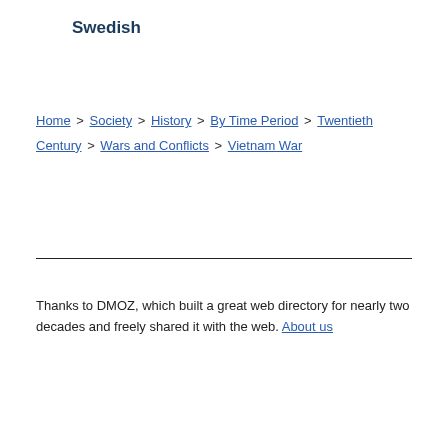Swedish
Home > Society > History > By Time Period > Twentieth Century > Wars and Conflicts > Vietnam War
Thanks to DMOZ, which built a great web directory for nearly two decades and freely shared it with the web. About us